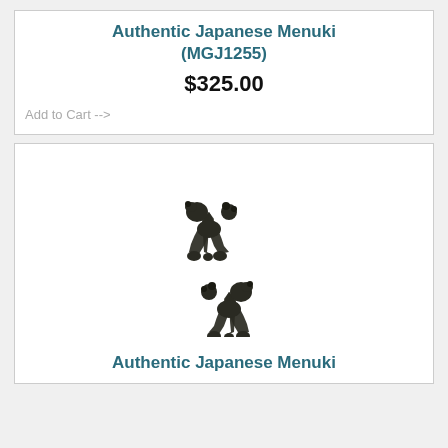Authentic Japanese Menuki (MGJ1255)
$325.00
Add to Cart -->
[Figure (photo): Two dark bronze/black Japanese Menuki ornaments, each featuring an animal figure (lion/dog) with a trident-like pronged body, one facing right and one facing left, shown against a white background.]
Authentic Japanese Menuki